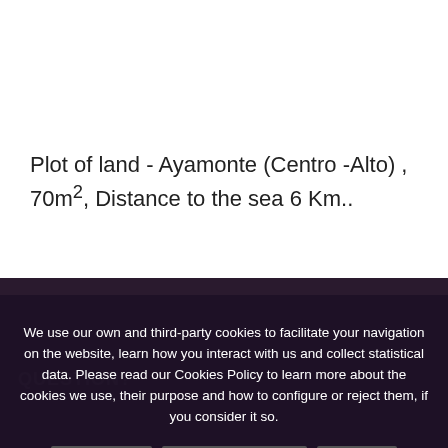Plot of land - Ayamonte (Centro -Alto) , 70m², Distance to the sea 6 Km..
+ INFO
QUESTION?
We use our own and third-party cookies to facilitate your navigation on the website, learn how you interact with us and collect statistical data. Please read our Cookies Policy to learn more about the cookies we use, their purpose and how to configure or reject them, if you consider it so.
Accept all
Manage Cookies
Reject